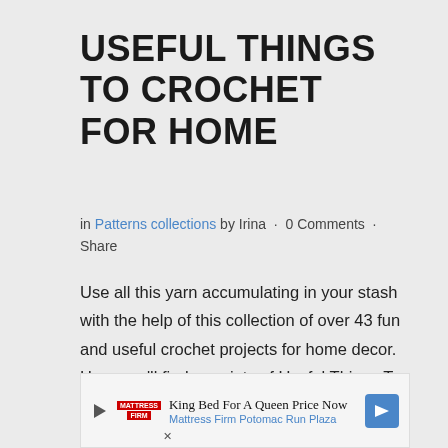USEFUL THINGS TO CROCHET FOR HOME
in Patterns collections by Irina · 0 Comments · Share
Use all this yarn accumulating in your stash with the help of this collection of over 43 fun and useful crochet projects for home decor. Here you'll find a variety of Useful Things To Crochet For Home to crochet from baskets to crochet placemats and coasters, pillow and crochet wall hangings.
[Figure (other): Advertisement banner for Mattress Firm Potomac Run Plaza: King Bed For A Queen Price Now]